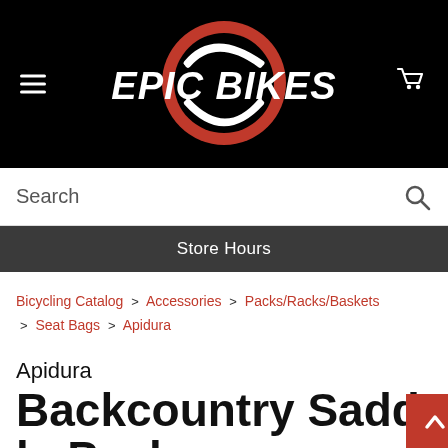[Figure (logo): Epic Bikes logo with red gear/sprocket circle and white italic bold text 'EPIC BIKES' on black background, with hamburger menu icon on left and shopping cart icon on right]
Search
Store Hours
Bicycling Catalog > Accessories > Packs/Racks/Baskets > Seat Bags > Apidura
Apidura
Backcountry Saddle Pack